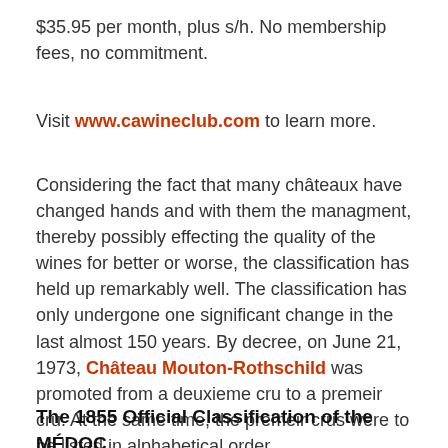$35.95 per month, plus s/h. No membership fees, no commitment.
Visit www.cawineclub.com to learn more.
Considering the fact that many châteaux have changed hands and with them the managment, thereby possibly effecting the quality of the wines for better or worse, the classification has held up remarkably well. The classification has only undergone one significant change in the last almost 150 years. By decree, on June 21, 1973, Château Mouton-Rothschild was promoted from a deuxieme cru to a premeir cru. At the same time, the premeir crus were to be listed in alphabetical order.
The 1855 Official Classification of the MÉDOC